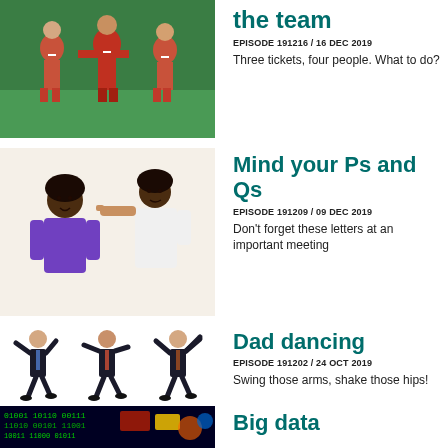[Figure (photo): Women in red soccer uniforms celebrating on a field]
the team
EPISODE 191216 / 16 DEC 2019
Three tickets, four people. What to do?
[Figure (photo): Two women, one pointing finger at the other]
Mind your Ps and Qs
EPISODE 191209 / 09 DEC 2019
Don't forget these letters at an important meeting
[Figure (photo): Three men in suits dancing]
Dad dancing
EPISODE 191202 / 24 OCT 2019
Swing those arms, shake those hips!
[Figure (photo): Digital matrix-style background with colorful elements]
Big data